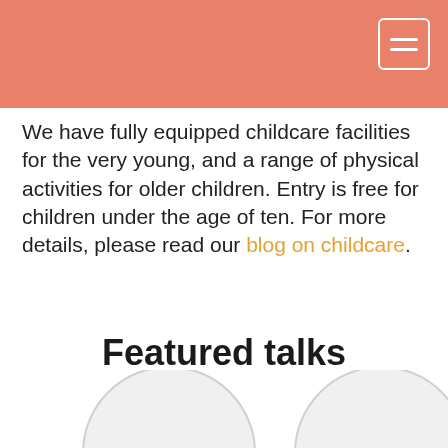[Figure (other): Salmon/coral colored header navigation bar with a white hamburger menu button in the top right corner]
We have fully equipped childcare facilities for the very young, and a range of physical activities for older children. Entry is free for children under the age of ten. For more details, please read our blog on childcare.
Featured talks
[Figure (other): Two circular profile photo placeholders partially visible at the bottom of the page]